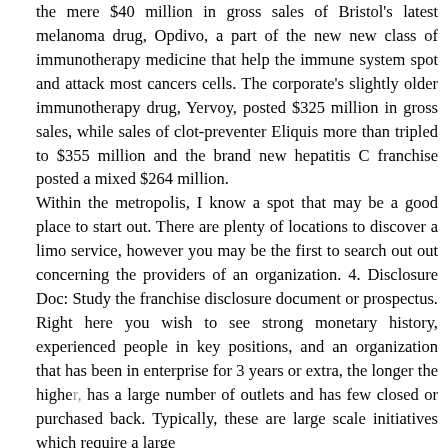the mere $40 million in gross sales of Bristol's latest melanoma drug, Opdivo, a part of the new new class of immunotherapy medicine that help the immune system spot and attack most cancers cells. The corporate's slightly older immunotherapy drug, Yervoy, posted $325 million in gross sales, while sales of clot-preventer Eliquis more than tripled to $355 million and the brand new hepatitis C franchise posted a mixed $264 million.
Within the metropolis, I know a spot that may be a good place to start out. There are plenty of locations to discover a limo service, however you may be the first to search out out concerning the providers of an organization. 4. Disclosure Doc: Study the franchise disclosure document or prospectus. Right here you wish to see strong monetary history, experienced people in key positions, and an organization that has been in enterprise for 3 years or extra, the longer the higher, has a large number of outlets and has few closed or purchased back. Typically, these are large scale initiatives which require a large